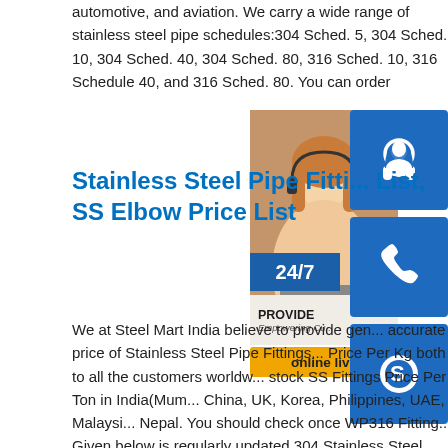automotive, and aviation. We carry a wide range of stainless steel pipe schedules:304 Sched. 5, 304 Sched. 10, 304 Sched. 40, 304 Sched. 80, 316 Sched. 10, 316 Schedule 40, and 316 Sched. 80. You can order
[Figure (photo): Customer service representative with headset; sidebar icons for phone/Skype contact, 24/7 badge, PROVIDE Empowering Customers branding, and online live button]
Stainless Steel Pipe Fittings Price List, SS Elbow Price List
We at Steel Mart India believe to provide genuine and accurate price of Stainless Steel Pipe Fittings and SS Pipe Price Per Kg both to all the customers worldwide. We stock SS Fittings Price Per Ton in India(Mumbai), China, UK, Korea, Philippines, UAE, Malaysia, Nepal. You should check once WP316 Fittings Price. Given below is regularly updated 304 Stainless Steel Stainless Steel Pipe Price List - TheProjectEstimateApr 01, 2020 · Stainless steel pipe price list including Seamless stainless steel pipe schedule 40, 304 and 316; welded stainless steel pipe 304 schedule 10 and schedule 40. All prices are in Philippine Peso (Php) VAT inclusive. The prices listed are per length of pipe. The standard length of pipe is 6